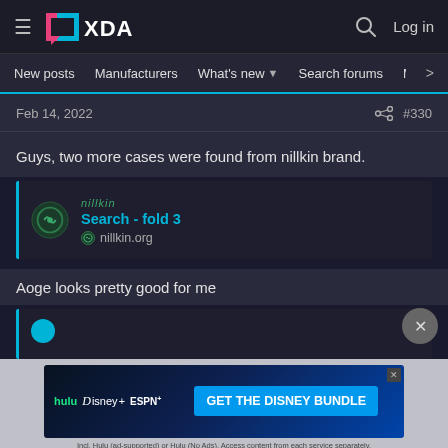XDA Developers — Log in
New posts  Manufacturers  What's new  Search forums  Members  >
Feb 14, 2022
#330
Guys, two more cases were found from nillkin brand.
[Figure (screenshot): Link preview card for nillkin.org showing 'Search - fold 3' with nillkin logo]
Aoge looks pretty good for me
[Figure (screenshot): Partial link preview card with blue circle icon, content cut off]
[Figure (screenshot): Advertisement banner for Disney Bundle with Hulu, Disney+, ESPN+ logos and 'GET THE DISNEY BUNDLE' call to action]